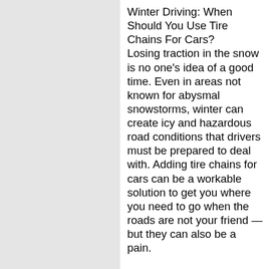Winter Driving: When Should You Use Tire Chains For Cars?
Losing traction in the snow is no one's idea of a good time. Even in areas not known for abysmal snowstorms, winter can create icy and hazardous road conditions that drivers must be prepared to deal with. Adding tire chains for cars can be a workable solution to get you where you need to go when the roads are not your friend — but they can also be a pain.
Knowing when to employ chains can help you get out of a slippery situation, but you